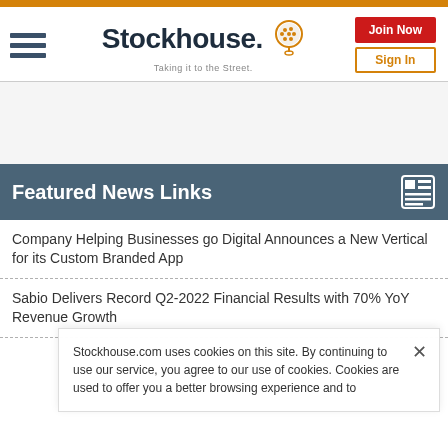Stockhouse – Taking it to the Street. [Join Now] [Sign In]
Featured News Links
Company Helping Businesses go Digital Announces a New Vertical for its Custom Branded App
Sabio Delivers Record Q2-2022 Financial Results with 70% YoY Revenue Growth
Stockhouse.com uses cookies on this site. By continuing to use our service, you agree to our use of cookies. Cookies are used to offer you a better browsing experience and to